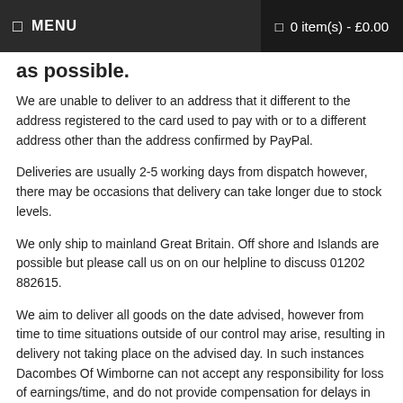MENU  0 item(s) - £0.00
as possible.
We are unable to deliver to an address that it different to the address registered to the card used to pay with or to a different address other than the address confirmed by PayPal.
Deliveries are usually 2-5 working days from dispatch however, there may be occasions that delivery can take longer due to stock levels.
We only ship to mainland Great Britain. Off shore and Islands are possible but please call us on on our helpline to discuss 01202 882615.
We aim to deliver all goods on the date advised, however from time to time situations outside of our control may arise, resulting in delivery not taking place on the advised day. In such instances Dacombes Of Wimborne can not accept any responsibility for loss of earnings/time, and do not provide compensation for delays in transit. We will do our best to keep you notified of any issues at all times.
All deliveries must be signed for. The deliveries will NOT be left in